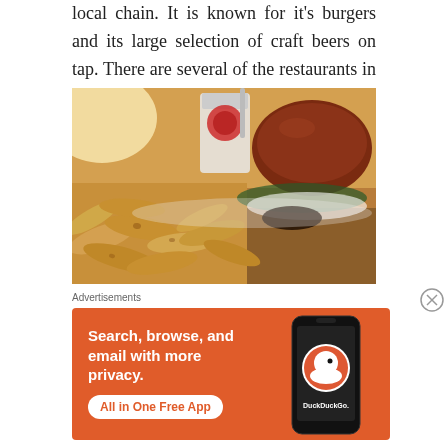local chain. It is known for it's burgers and its large selection of craft beers on tap. There are several of the restaurants in the area, but they have so far stayed in the state of Washington.
[Figure (photo): Close-up photo of a plate of steak fries/potato wedges with a burger and a branded cup in the background]
Advertisements
[Figure (illustration): DuckDuckGo advertisement banner with orange background. Text: Search, browse, and email with more privacy. All in One Free App. Shows DuckDuckGo logo on a smartphone.]